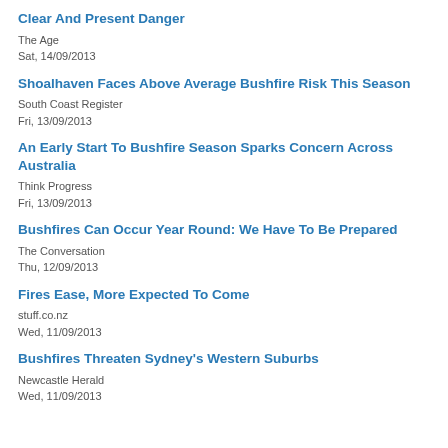Clear And Present Danger
The Age
Sat, 14/09/2013
Shoalhaven Faces Above Average Bushfire Risk This Season
South Coast Register
Fri, 13/09/2013
An Early Start To Bushfire Season Sparks Concern Across Australia
Think Progress
Fri, 13/09/2013
Bushfires Can Occur Year Round: We Have To Be Prepared
The Conversation
Thu, 12/09/2013
Fires Ease, More Expected To Come
stuff.co.nz
Wed, 11/09/2013
Bushfires Threaten Sydney's Western Suburbs
Newcastle Herald
Wed, 11/09/2013